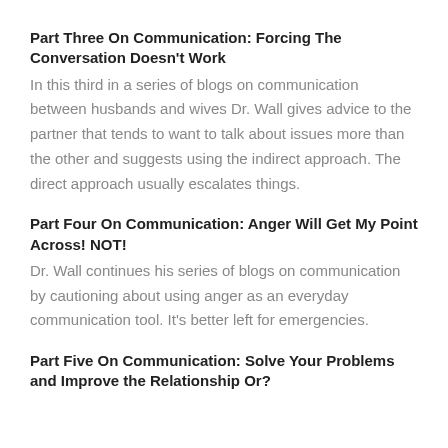Part Three On Communication: Forcing The Conversation Doesn’t Work
In this third in a series of blogs on communication between husbands and wives Dr. Wall gives advice to the partner that tends to want to talk about issues more than the other and suggests using the indirect approach. The direct approach usually escalates things.
Part Four On Communication: Anger Will Get My Point Across! NOT!
Dr. Wall continues his series of blogs on communication by cautioning about using anger as an everyday communication tool. It’s better left for emergencies.
Part Five On Communication: Solve Your Problems and Improve the Relationship Or?